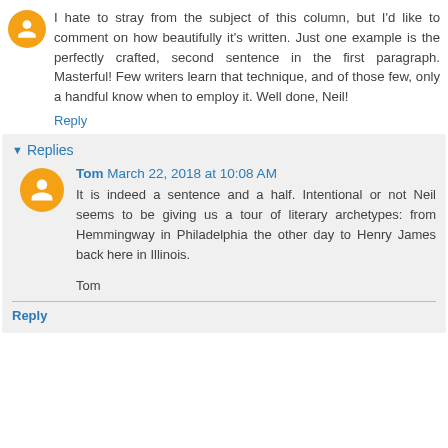I hate to stray from the subject of this column, but I'd like to comment on how beautifully it's written. Just one example is the perfectly crafted, second sentence in the first paragraph. Masterful! Few writers learn that technique, and of those few, only a handful know when to employ it. Well done, Neil!
Reply
Replies
Tom March 22, 2018 at 10:08 AM
It is indeed a sentence and a half. Intentional or not Neil seems to be giving us a tour of literary archetypes: from Hemmingway in Philadelphia the other day to Henry James back here in Illinois.

Tom
Reply